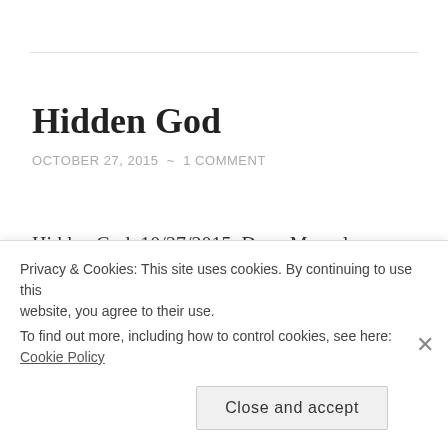Hidden God
OCTOBER 27, 2015  ~  1 COMMENT
Hidden God, 10/27/2015, Deon Mumple
I've hidden my God as I've hidden myself,
Profanity, humanity, reversed, tucked away,
As God's hidden me in cobwebs on His Shelf
Privacy & Cookies: This site uses cookies. By continuing to use this website, you agree to their use.
To find out more, including how to control cookies, see here: Cookie Policy
Close and accept